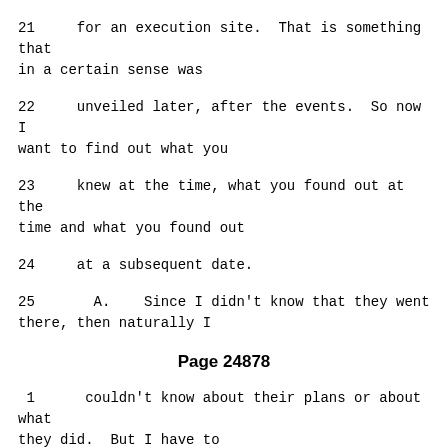21     for an execution site.  That is something that in a certain sense was
22     unveiled later, after the events.  So now I want to find out what you
23     knew at the time, what you found out at the time and what you found out
24     at a subsequent date.
25       A.   Since I didn't know that they went there, then naturally I
Page 24878
1     couldn't know about their plans or about what they did.  But I have to